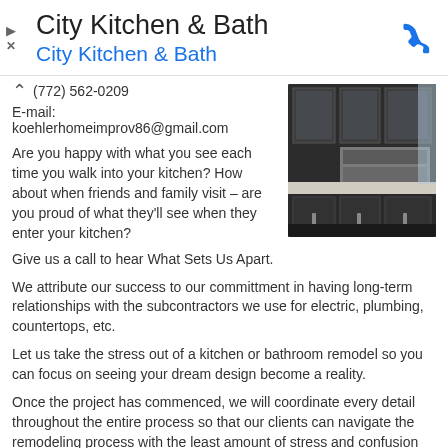City Kitchen & Bath
City Kitchen & Bath
(772) 562-0209
E-mail: koehlerhomeimprov86@gmail.com
[Figure (photo): Kitchen interior showing dark cabinets, stainless steel appliances, and light countertops]
Are you happy with what you see each time you walk into your kitchen? How about when friends and family visit – are you proud of what they'll see when they enter your kitchen?
Give us a call to hear What Sets Us Apart.
We attribute our success to our committment in having long-term relationships with the subcontractors we use for electric, plumbing, countertops, etc.
Let us take the stress out of a kitchen or bathroom remodel so you can focus on seeing your dream design become a reality.
Once the project has commenced, we will coordinate every detail throughout the entire process so that our clients can navigate the remodeling process with the least amount of stress and confusion